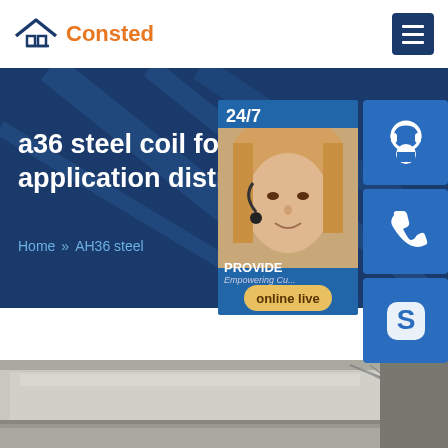Consted
a36 steel coil for ra... application distrib...
Home >> AH36 steel
[Figure (screenshot): Customer service widget overlay showing 24/7 support with headset icon, phone icon, Skype icon, and 'online live' button, with customer service representative photo]
[Figure (photo): Steel plate/coil product photo showing flat steel sheets stacked at an angle]